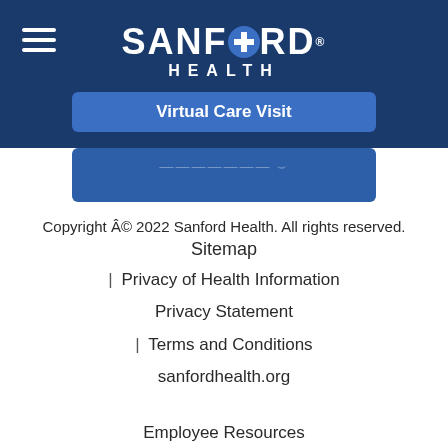[Figure (logo): Sanford Health logo with hamburger menu icon on dark navy blue header background. Logo reads SANFORD HEALTH with a cross/plus symbol replacing the O in SANFORD.]
Virtual Care Visit
Copyright Â© 2022 Sanford Health. All rights reserved.
Sitemap
| Privacy of Health Information
Privacy Statement
| Terms and Conditions
sanfordhealth.org
Employee Resources
| Success Center